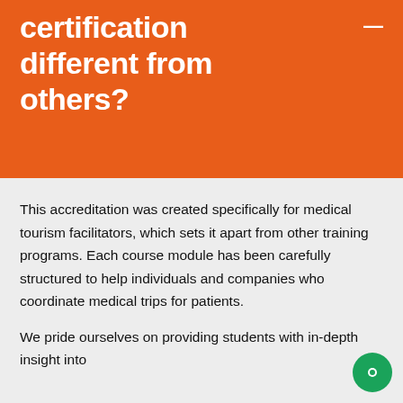certification different from others?
This accreditation was created specifically for medical tourism facilitators, which sets it apart from other training programs. Each course module has been carefully structured to help individuals and companies who coordinate medical trips for patients.
We pride ourselves on providing students with in-depth insight into